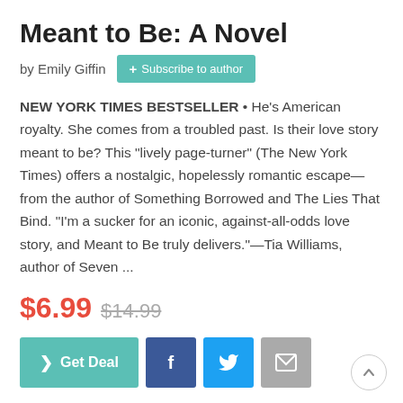Meant to Be: A Novel
by Emily Giffin  + Subscribe to author
NEW YORK TIMES BESTSELLER • He’s American royalty. She comes from a troubled past. Is their love story meant to be? This “lively page-turner” (The New York Times) offers a nostalgic, hopelessly romantic escape—from the author of Something Borrowed and The Lies That Bind. “I’m a sucker for an iconic, against-all-odds love story, and Meant to Be truly delivers.”—Tia Williams, author of Seven ...
$6.99  $14.99
> Get Deal  f  (twitter)  (email)